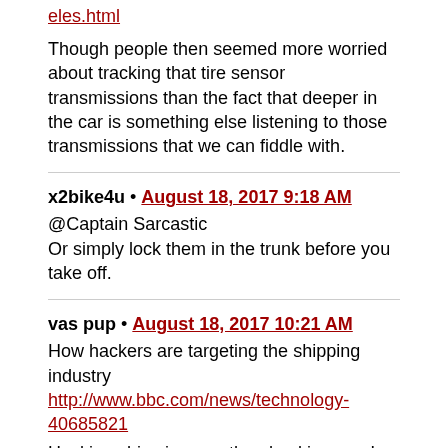eles.html
Though people then seemed more worried about tracking that tire sensor transmissions than the fact that deeper in the car is something else listening to those transmissions that we can fiddle with.
x2bike4u • August 18, 2017 9:18 AM
@Captain Sarcastic
Or simply lock them in the trunk before you take off.
vas pup • August 18, 2017 10:21 AM
How hackers are targeting the shipping industry
http://www.bbc.com/news/technology-40685821

Hacking ships is more than hacking cars!
SparkyGSX • August 18, 2017 10:35 AM
My comment is being eaten by the spam filter?